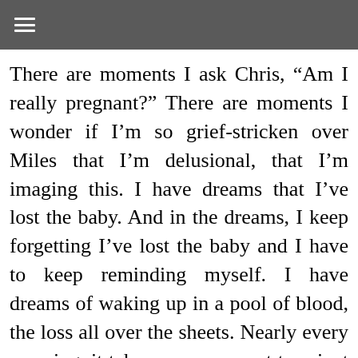≡
There are moments I ask Chris, “Am I really pregnant?” There are moments I wonder if I’m so grief-stricken over Miles that I’m delusional, that I’m imaging this. I have dreams that I’ve lost the baby. And in the dreams, I keep forgetting I’ve lost the baby and I have to keep reminding myself. I have dreams of waking up in a pool of blood, the loss all over the sheets. Nearly every morning, it takes me a moment to orient myself, to confirm our reality. I step on the scale daily, not because I care how many pounds I am gaining, but because the weight assures me that our daughter is really inside.